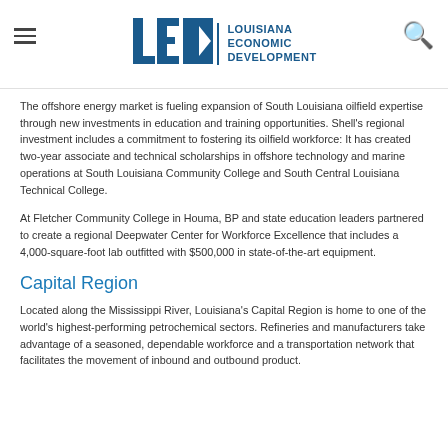LED Louisiana Economic Development
The offshore energy market is fueling expansion of South Louisiana oilfield expertise through new investments in education and training opportunities. Shell's regional investment includes a commitment to fostering its oilfield workforce: It has created two-year associate and technical scholarships in offshore technology and marine operations at South Louisiana Community College and South Central Louisiana Technical College.
At Fletcher Community College in Houma, BP and state education leaders partnered to create a regional Deepwater Center for Workforce Excellence that includes a 4,000-square-foot lab outfitted with $500,000 in state-of-the-art equipment.
Capital Region
Located along the Mississippi River, Louisiana's Capital Region is home to one of the world's highest-performing petrochemical sectors. Refineries and manufacturers take advantage of a seasoned, dependable workforce and a transportation network that facilitates the movement of inbound and outbound product.